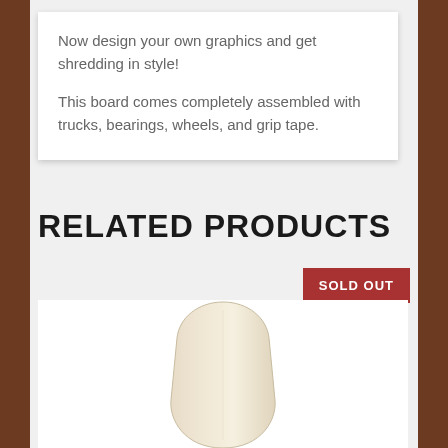Now design your own graphics and get shredding in style!
This board comes completely assembled with trucks, bearings, wheels, and grip tape.
RELATED PRODUCTS
SOLD OUT
[Figure (photo): A skateboard deck photographed from above showing a plain cream/white colored board shape with rounded nose and tail]